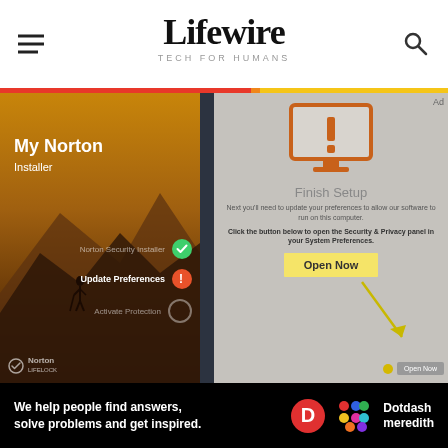Lifewire — TECH FOR HUMANS
[Figure (screenshot): Screenshot of My Norton Installer application showing 'Finish Setup' dialog with an orange monitor warning icon, steps list (Norton Security Installer checked, Update Preferences with orange alert, Activate Protection empty), and 'Open Now' yellow button. Arrow pointing to Open Now button in bottom corner.]
[Figure (logo): Dotdash Meredith logo with 'We help people find answers, solve problems and get inspired.' tagline]